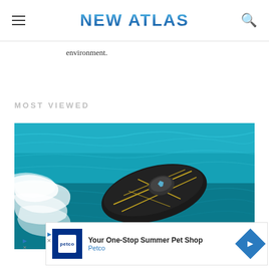NEW ATLAS
environment.
MOST VIEWED
[Figure (photo): Aerial view of a futuristic dark-colored jet ski or personal watercraft with gold geometric markings speeding across turquoise water, creating white foam wake]
[Figure (other): Advertisement banner: Petco - Your One-Stop Summer Pet Shop]